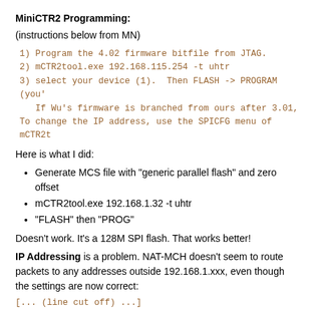MiniCTR2 Programming:
(instructions below from MN)
1) Program the 4.02 firmware bitfile from JTAG.
2) mCTR2tool.exe 192.168.115.254 -t uhtr
3) select your device (1).  Then FLASH -> PROGRAM (you'
If Wu's firmware is branched from ours after 3.01,
To change the IP address, use the SPICFG menu of mCTR2t
Here is what I did:
Generate MCS file with "generic parallel flash" and zero offset
mCTR2tool.exe 192.168.1.32 -t uhtr
"FLASH" then "PROG"
Doesn't work. It's a 128M SPI flash. That works better!
IP Addressing is a problem. NAT-MCH doesn't seem to route packets to any addresses outside 192.168.1.xxx, even though the settings are now correct:
[... code line cut off at bottom ...]